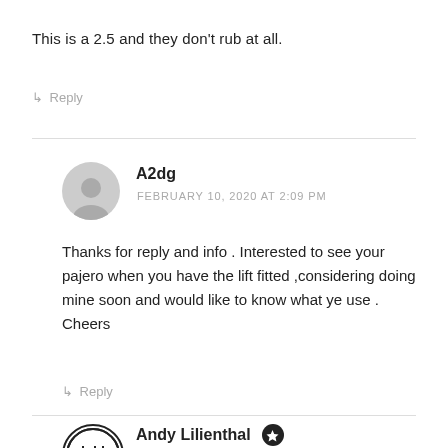This is a 2.5 and they don't rub at all.
↳ Reply
A2dg
FEBRUARY 10, 2020 AT 2:09 PM
Thanks for reply and info . Interested to see your pajero when you have the lift fitted ,considering doing mine soon and would like to know what ye use . Cheers
↳ Reply
Andy Lilienthal
FEBRUARY 11, 2020 AT 7:30 AM